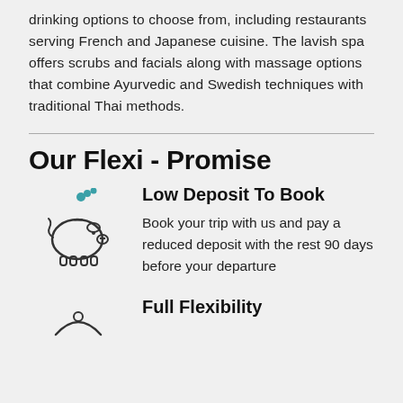drinking options to choose from, including restaurants serving French and Japanese cuisine. The lavish spa offers scrubs and facials along with massage options that combine Ayurvedic and Swedish techniques with traditional Thai methods.
Our Flexi - Promise
[Figure (illustration): Piggy bank icon with teal coins above it, outline style]
Low Deposit To Book
Book your trip with us and pay a reduced deposit with the rest 90 days before your departure
[Figure (illustration): Partial icon visible at bottom of page for Full Flexibility section]
Full Flexibility